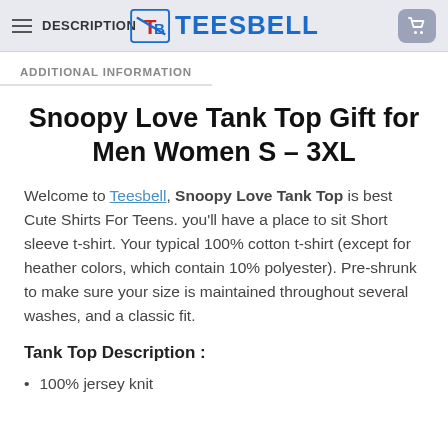DESCRIPTION | TEESBELL
ADDITIONAL INFORMATION
Snoopy Love Tank Top Gift for Men Women S – 3XL
Welcome to Teesbell, Snoopy Love Tank Top is best Cute Shirts For Teens. you'll have a place to sit Short sleeve t-shirt. Your typical 100% cotton t-shirt (except for heather colors, which contain 10% polyester). Pre-shrunk to make sure your size is maintained throughout several washes, and a classic fit.
Tank Top Description :
100% jersey knit